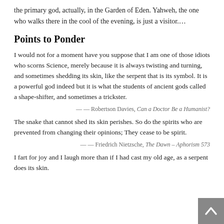the primary god, actually, in the Garden of Eden. Yahweh, the one who walks there in the cool of the evening, is just a visitor….
Points to Ponder
I would not for a moment have you suppose that I am one of those idiots who scorns Science, merely because it is always twisting and turning, and sometimes shedding its skin, like the serpent that is its symbol. It is a powerful god indeed but it is what the students of ancient gods called a shape-shifter, and sometimes a trickster.
— — Robertson Davies, Can a Doctor Be a Humanist?
The snake that cannot shed its skin perishes. So do the spirits who are prevented from changing their opinions; They cease to be spirit.
— — Friedrich Nietzsche, The Dawn – Aphorism 573
I fart for joy and I laugh more than if I had cast my old age, as a serpent does its skin.